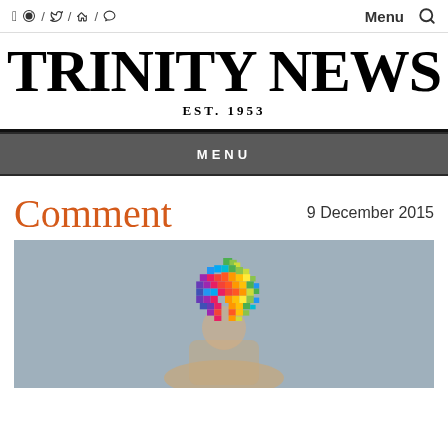f / ◎ / ✓ / 👻   Menu 🔍
TRINITY NEWS
EST. 1953
MENU
Comment
9 December 2015
[Figure (photo): Person holding a colorful mosaic Apple logo on a grey background]